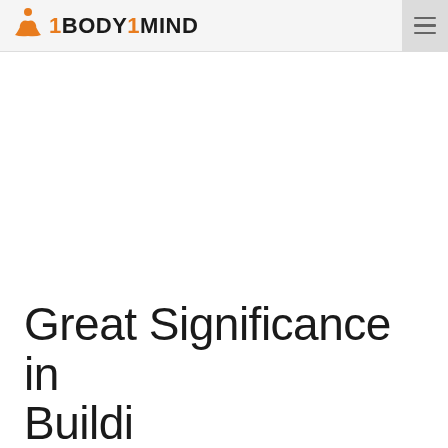1BODY1MIND
[Figure (logo): 1BODY1MIND website logo with orange meditating figure icon and bold text]
Great Significance in Buildi...